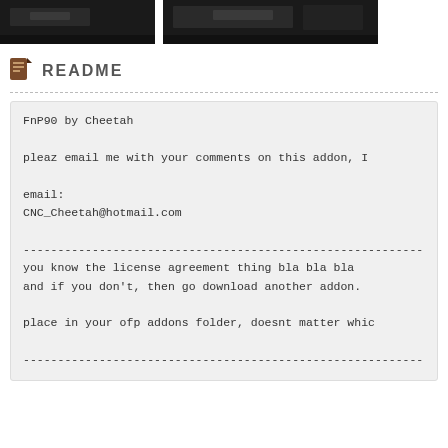[Figure (photo): Two dark screenshot images of a game showing FnP90 weapon addon, side by side at the top of the page]
README
FnP90 by Cheetah

pleaz email me with your comments on this addon, I

email:
CNC_Cheetah@hotmail.com

------------------------------------------------------------------
you know the license agreement thing bla bla bla
and if you don't, then go download another addon.

place in your ofp addons folder, doesnt matter whic

------------------------------------------------------------------

This addon contains 8 variants of the fn P90.
you will find them under 'West > CH-Men'